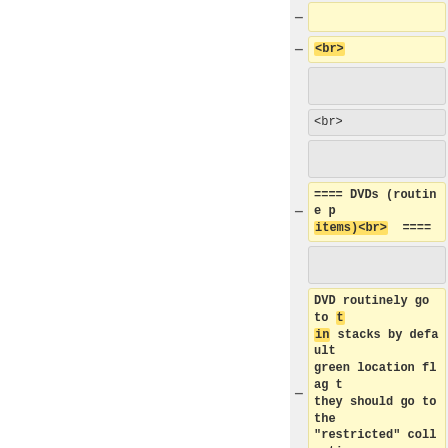—  [empty row]
—  <br>
[empty row gray]
<br>
[empty row gray]
—  ==== DVDs (routine p... items)<br>  ====
[empty row gray]
—  DVD routinely go to ... in stacks by default ... green location flag t... they should go to the... "restricted" collecti... Circulation Desk.&nbs...
[empty row gray]
'''For DVD Collectio...